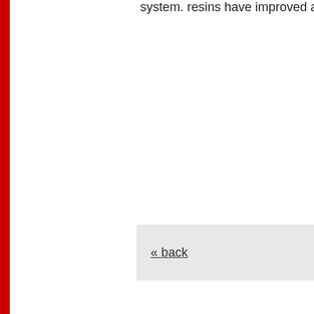system. resins have improved also. D
« back
Copyright © 2022 A
20 PGA Drive
540-720-5584 (P)
www...
[Figure (photo): Advertisement: Shop the Best New & Used Car Deals in Your Area? Ad by CarDealsNearYou]
[Figure (photo): Advertisement: 20 Cringeworthy Lamborghinis That Hurt Our Eyes and Brains! Ad by PittyNews]